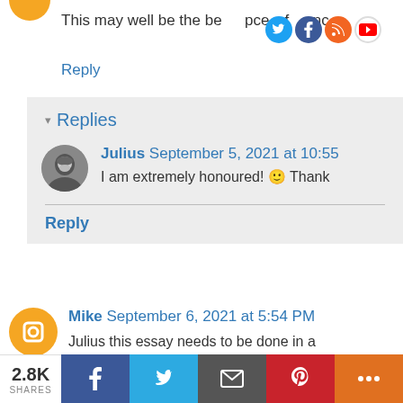This may well be the best of enc
Reply
Replies
Julius September 5, 2021 at 10:55
I am extremely honoured! 🙂 Thank
Reply
Mike September 6, 2021 at 5:54 PM
Julius this essay needs to be done in a won't have the time to read it all the w
2.8K SHARES | Facebook | Twitter | Email | Pinterest | More